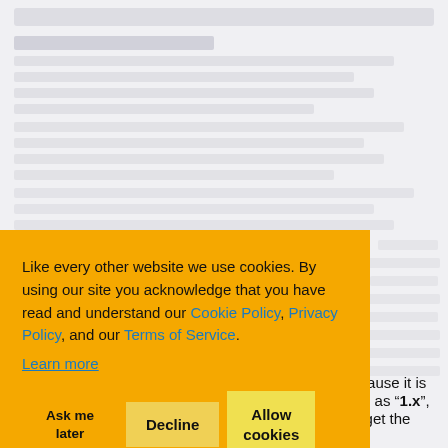[Figure (screenshot): Blurred/grayed out webpage content in the background, partially obscured by a cookie consent banner overlay.]
Like every other website we use cookies. By using our site you acknowledge that you have read and understand our Cookie Policy, Privacy Policy, and our Terms of Service. Learn more
Ask me later   Decline   Allow cookies
de because it is labeled as "1.x", ..x.x", get the picture?